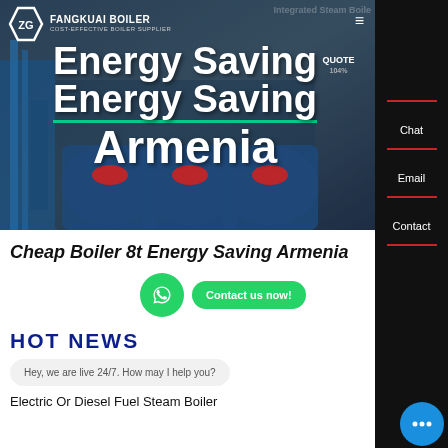[Figure (screenshot): Website screenshot of a boiler supplier page. Hero image shows industrial boilers with overlay text 'Energy Saving Armenia'. Header shows logo with text 'COST-EFFECTIVE BOILER SUPPLIER'. Right sidebar is black with Chat, Email, Contact labels. Below hero: page title 'Cheap Boiler 8t Energy Saving Armenia', WhatsApp button, Contact us now button, HOT NEWS section header, chat bubble 'Hey, we are live 24/7. How may I help you?', and text 'Electric Or Diesel Fuel Steam Boiler'.]